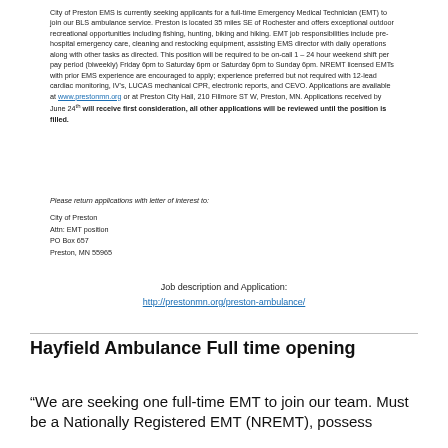City of Preston EMS is currently seeking applicants for a full-time Emergency Medical Technician (EMT) to join our BLS ambulance service. Preston is located 35 miles SE of Rochester and offers exceptional outdoor recreational opportunities including fishing, hunting, biking and hiking. EMT job responsibilities include pre-hospital emergency care, cleaning and restocking equipment, assisting EMS director with daily operations along with other tasks as directed. This position will be required to be on-call 1 - 24 hour weekend shift per pay period (biweekly) Friday 6pm to Saturday 6pm or Saturday 6pm to Sunday 6pm. NREMT licensed EMTs with prior EMS experience are encouraged to apply; experience preferred but not required with 12-lead cardiac monitoring, IV's, LUCAS mechanical CPR, electronic reports, and CEVO. Applications are available at www.prestonmn.org or at Preston City Hall, 210 Fillmore ST W, Preston, MN. Applications received by June 24th will receive first consideration, all other applications will be reviewed until the position is filled.
Please return applications with letter of interest to:
City of Preston
Attn: EMT position
PO Box 657
Preston, MN 55965
Job description and Application:
http://prestonmn.org/preston-ambulance/
Hayfield Ambulance Full time opening
“We are seeking one full-time EMT to join our team. Must be a Nationally Registered EMT (NREMT), possess